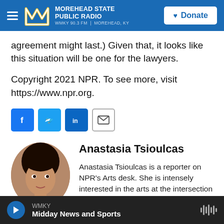MOREHEAD STATE PUBLIC RADIO — WMKY 90.3 FM | MOREHEAD, KY — Donate
agreement might last.) Given that, it looks like this situation will be one for the lawyers.
Copyright 2021 NPR. To see more, visit https://www.npr.org.
[Figure (other): Social sharing buttons: Facebook, Twitter, LinkedIn, Email]
[Figure (photo): Headshot photo of Anastasia Tsioulcas]
Anastasia Tsioulcas
Anastasia Tsioulcas is a reporter on NPR's Arts desk. She is intensely interested in the arts at the intersection of culture...
WMKY — Midday News and Sports